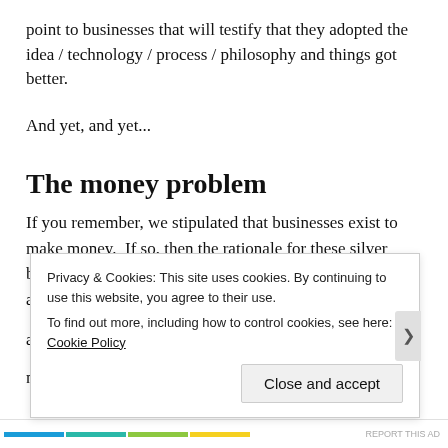point to businesses that will testify that they adopted the idea / technology / process / philosophy and things got better.
And yet, and yet...
The money problem
If you remember, we stipulated that businesses exist to make money.  If so, then the rationale for these silver bullets has to be that, in the end, the businesses which adopt them make more money.
In my experience, for most companies, these fads almost
Privacy & Cookies: This site uses cookies. By continuing to use this website, you agree to their use.
To find out more, including how to control cookies, see here: Cookie Policy
Close and accept